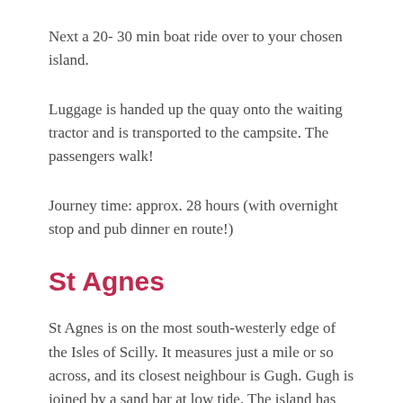Next a 20- 30 min boat ride over to your chosen island.
Luggage is handed up the quay onto the waiting tractor and is transported to the campsite. The passengers walk!
Journey time: approx. 28 hours (with overnight stop and pub dinner en route!)
St Agnes
St Agnes is on the most south-westerly edge of the Isles of Scilly. It measures just a mile or so across, and its closest neighbour is Gugh. Gugh is joined by a sand bar at low tide. The island has about 85 residents, no proper roads and no cars (the odd car is sometimes used by